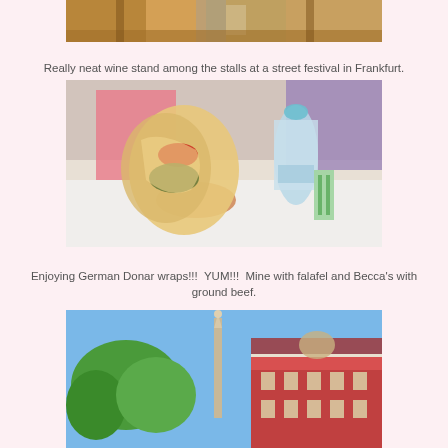[Figure (photo): Partial view of a wine stand with wooden furniture at a street festival in Frankfurt]
Really neat wine stand among the stalls at a street festival in Frankfurt.
[Figure (photo): A hand holding a German Donar wrap (pita bread with falafel and vegetables) with a water bottle visible on a white table in the background]
Enjoying German Donar wraps!!!  YUM!!!  Mine with falafel and Becca's with ground beef.
[Figure (photo): A historic German town square with a tall column/obelisk monument, green trees on the left, and a red baroque-style building on the right under a blue sky]